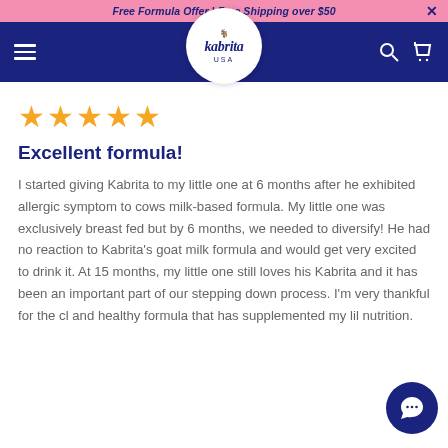Free Formula Offer | Free Shipping over $50
[Figure (logo): Kabrita USA logo in circular white badge on navy navigation bar]
[Figure (illustration): Five gold star rating icons]
Excellent formula!
I started giving Kabrita to my little one at 6 months after he exhibited allergic symptom to cows milk-based formula. My little one was exclusively breast fed but by 6 months, we needed to diversify! He had no reaction to Kabrita's goat milk formula and would get very excited to drink it. At 15 months, my little one still loves his Kabrita and it has been an important part of our stepping down process. I'm very thankful for the cl and healthy formula that has supplemented my lil nutrition.